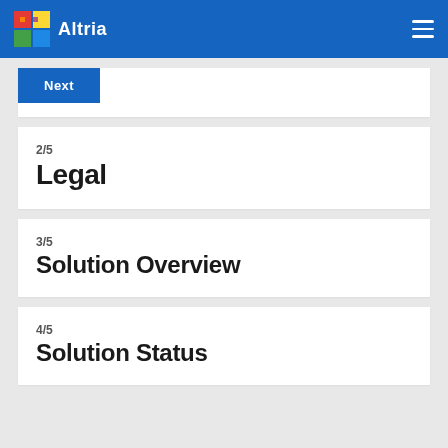Altria
Next
2/5
Legal
3/5
Solution Overview
4/5
Solution Status